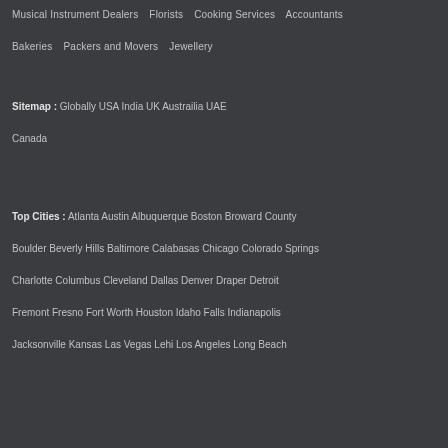Musical Instrument Dealers  Florists  Cooking Services  Accountants
Bakeries  Packers and Movers  Jewellery
Sitemap : Globally  USA  India  UK  Austrailia  UAE
Canada
Top Cities : Atlanta  Austin  Albuquerque  Boston  Broward County
Boulder  Beverly Hills  Baltimore  Calabasas  Chicago  Colorado Springs
Charlotte  Columbus  Cleveland  Dallas  Denver  Draper  Detroit
Fremont  Fresno  Fort Worth  Houston  Idaho Falls  Indianapolis
Jacksonville  Kansas  Las Vegas  Lehi  Los Angeles  Long Beach